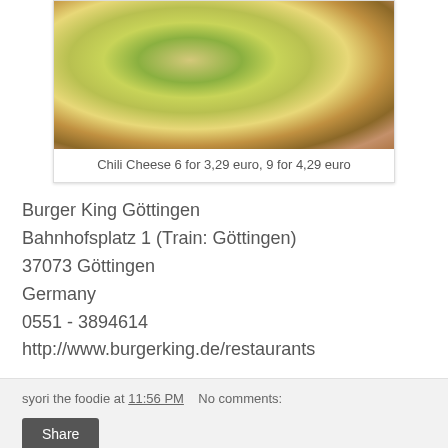[Figure (photo): Close-up photo of a Chili Cheese snack/nugget being held, showing melted cheese and green chili filling inside a breaded exterior]
Chili Cheese 6 for 3,29 euro, 9 for 4,29 euro
Burger King Göttingen
Bahnhofsplatz 1 (Train: Göttingen)
37073 Göttingen
Germany
0551 - 3894614
http://www.burgerking.de/restaurants
syori the foodie at 11:56 PM   No comments:
Share
Deutsche Bahn Train Dining